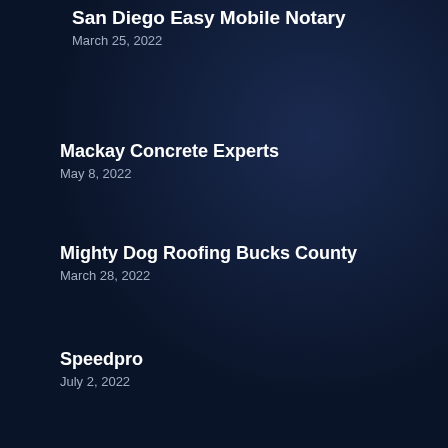San Diego Easy Mobile Notary
March 25, 2022
Mackay Concrete Experts
May 8, 2022
Mighty Dog Roofing Bucks County
March 28, 2022
Speedpro
July 2, 2022
Ribowsky Law- Queens Personal Injury & Accident Lawyer
April 4, 2022